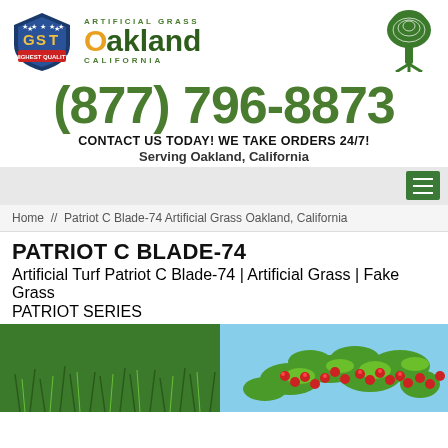[Figure (logo): GST shield logo with 'Highest Quality' banner, Artificial Grass Oakland California text logo with orange circle O, and green oak tree logo]
(877) 796-8873
CONTACT US TODAY! WE TAKE ORDERS 24/7!
Serving Oakland, California
Home // Patriot C Blade-74 Artificial Grass Oakland, California
PATRIOT C BLADE-74
Artificial Turf Patriot C Blade-74 | Artificial Grass | Fake Grass
PATRIOT SERIES
[Figure (photo): Close-up photo of green artificial grass blades on left side and red berries with green leaves on right side]